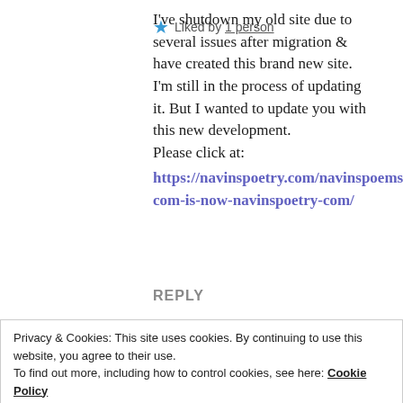I've shutdown my old site due to several issues after migration & have created this brand new site. I'm still in the process of updating it. But I wanted to update you with this new development.
Please click at:
https://navinspoetry.com/navinspoems-com-is-now-navinspoetry-com/
★ Liked by 1 person
REPLY
Privacy & Cookies: This site uses cookies. By continuing to use this website, you agree to their use.
To find out more, including how to control cookies, see here: Cookie Policy
Close and accept